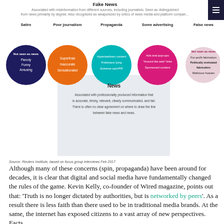Fake News
Associated with misinformation from different sources, including journalists. Seen as distinguished from news primarily by degree. Also recognized as weaponized by critics of news media and platform companies.
[Figure (infographic): Diagram showing types of fake news as colored circles: Satire (dark blue) - Not seen as news, Parody, Funny, Amusing; Poor journalism (orange) - Superficial, Inaccurate, Sensationalist; Propaganda (teal) - Hyperpartisan content, Politicians lying, Extreme spin/PR; Some advertising (magenta/pink) - Ads and pop-ups, 'Around the web' links, Sponsored content; False news (light pink) - Not seen as news, For-profit fabrication, Politically motivated fabrication, Malicious hoaxes. Below the circles is a light grey box labeled 'News' with description text.]
Source: Reuters Institute, based on focus group interviews Feb 2017
Although many of these concerns (spin, propaganda) have been around for decades, it is clear that digital and social media have fundamentally changed the rules of the game. Kevin Kelly, co-founder of Wired magazine, points out that: 'Truth is no longer dictated by authorities, but is networked by peers'. As a result there is less faith than there used to be in traditional media brands. At the same, the internet has exposed citizens to a vast array of new perspectives. Facts